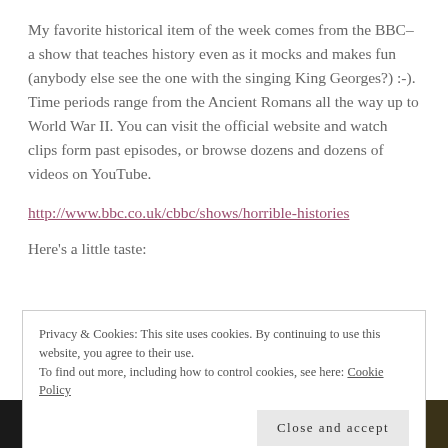My favorite historical item of the week comes from the BBC– a show that teaches history even as it mocks and makes fun (anybody else see the one with the singing King Georges?) :-). Time periods range from the Ancient Romans all the way up to World War II. You can visit the official website and watch clips form past episodes, or browse dozens and dozens of videos on YouTube.
http://www.bbc.co.uk/cbbc/shows/horrible-histories
Here's a little taste:
Privacy & Cookies: This site uses cookies. By continuing to use this website, you agree to their use. To find out more, including how to control cookies, see here: Cookie Policy
Close and accept